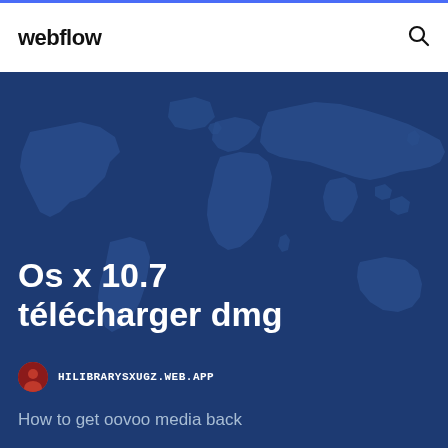webflow
[Figure (illustration): Blue world map hero background with overlaid text content]
Os x 10.7 télécharger dmg
HILIBRARYSXUGZ.WEB.APP
How to get oovoo media back